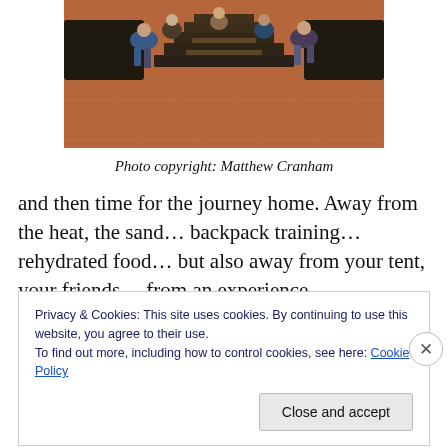[Figure (photo): People sitting on steps of a temple or monument with terracotta tile floor and ornate carved structure in the background]
Photo copyright: Matthew Cranham
and then time for the journey home. Away from the heat, the sand… backpack training… rehydrated food… but also away from your tent, your friends… from an experience
Privacy & Cookies: This site uses cookies. By continuing to use this website, you agree to their use.
To find out more, including how to control cookies, see here: Cookie Policy